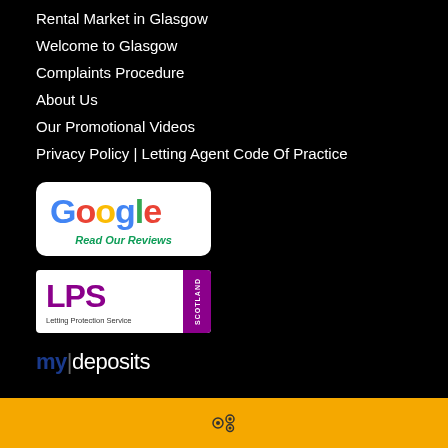Rental Market in Glasgow
Welcome to Glasgow
Complaints Procedure
About Us
Our Promotional Videos
Privacy Policy | Letting Agent Code Of Practice
[Figure (logo): Google logo with text 'Read Our Reviews' in green below]
[Figure (logo): LPS Scotland - Letting Protection Service logo with purple text and Scotland side bar]
[Figure (logo): mydeposits logo in blue and white]
settings icon on yellow bar